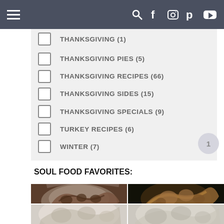Navigation bar with hamburger menu and social icons
THANKSGIVING (1) [partially visible, clipped]
THANKSGIVING PIES (5)
THANKSGIVING RECIPES (66)
THANKSGIVING SIDES (15)
THANKSGIVING SPECIALS (9)
TURKEY RECIPES (6)
WINTER (7)
SOUL FOOD FAVORITES:
[Figure (photo): Four food photos in a 2x2 grid: top-left shows a bowl of braised/stewed meat, top-right shows roasted chicken with vegetables, bottom two are partially visible lighter-colored food items.]